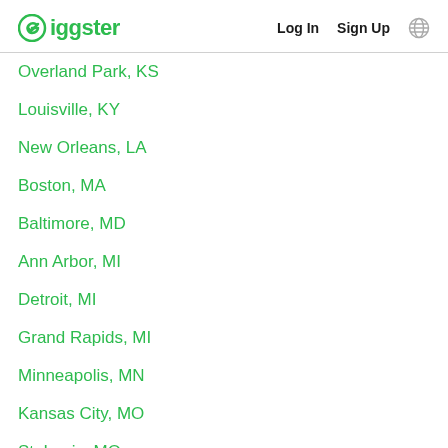Giggster | Log In | Sign Up
Overland Park, KS
Louisville, KY
New Orleans, LA
Boston, MA
Baltimore, MD
Ann Arbor, MI
Detroit, MI
Grand Rapids, MI
Minneapolis, MN
Kansas City, MO
St. Louis, MO
Asheville, NC